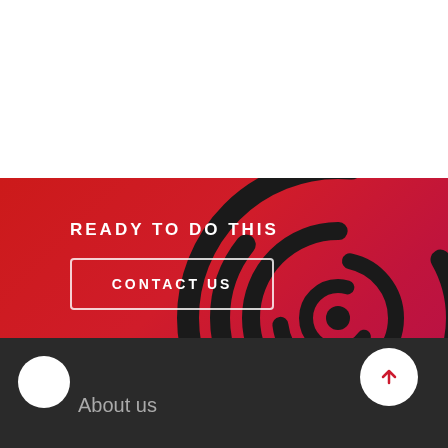[Figure (illustration): White top section of a webpage]
[Figure (illustration): Red gradient section with spiral/fingerprint swirl logo graphic on the right side]
READY TO DO THIS
CONTACT US
[Figure (illustration): Dark gray footer bar with moon icon button on left, 'About us' text, and white circle up-arrow button on right]